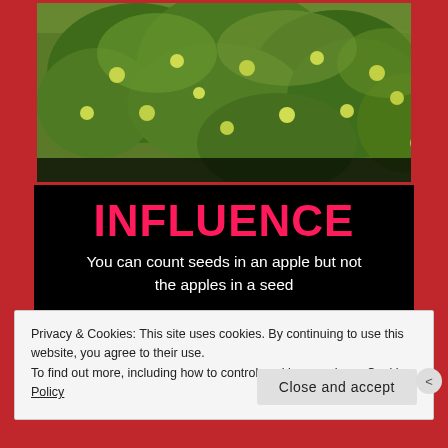[Figure (photo): Apple tree with green apples and dense foliage, shown inside a black card with red border, part of a motivational poster.]
INFLUENCE
You can count seeds in an apple but not the apples in a seed
Privacy & Cookies: This site uses cookies. By continuing to use this website, you agree to their use.
To find out more, including how to control cookies, see here: Cookie Policy
Close and accept